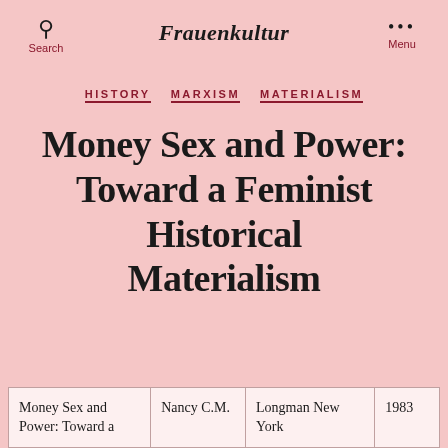Search | Frauenkultur | Menu
HISTORY  MARXISM  MATERIALISM
Money Sex and Power: Toward a Feminist Historical Materialism
| Money Sex and Power: Toward a | Nancy C.M. | Longman New York | 1983 |